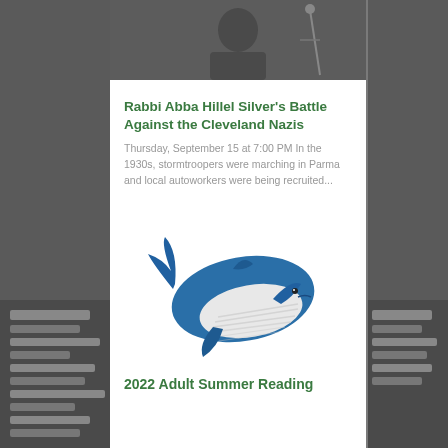[Figure (photo): Blurred dark grayscale background photo of books or newspapers at left and right edges; white card in center]
[Figure (photo): Top portion of a black and white photo — partial view of a person, cropped at top of card]
Rabbi Abba Hillel Silver's Battle Against the Cleveland Nazis
Thursday, September 15 at 7:00 PM In the 1930s, stormtroopers were marching in Parma and local autoworkers were being recruited...
[Figure (illustration): Illustration of a blue humpback whale with white underside stripes, facing right]
2022 Adult Summer Reading